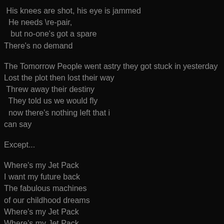His knees are shot, his eye is jammed
 He needs \re-pair,
  but no-one's got a spare
There's no demand
The Tomorrow People went astry they got stuck in yesterday
Lost the plot then lost their way
 Threw away their destiny
  They told us we would fly
  now there's nothing left that i
can say
Except...
Where's my Jet Pack
I want my future back
The fabulous machines
of our childhood dreams
Where's my Jet Pack
Where's my Jet Pack